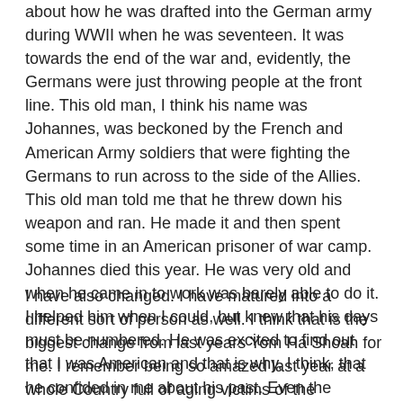about how he was drafted into the German army during WWII when he was seventeen. It was towards the end of the war and, evidently, the Germans were just throwing people at the front line. This old man, I think his name was Johannes, was beckoned by the French and American Army soldiers that were fighting the Germans to run across to the side of the Allies. This old man told me that he threw down his weapon and ran. He made it and then spent some time in an American prisoner of war camp. Johannes died this year. He was very old and when he came in to work was barely able to do it. I helped him when I could, but knew that his days must be numbered. He was excited to find out that I was American and that is why, I think, that he confided in me about his past. Even the Germans at the factory didn't know about this. Maybe he felt guilty and waited his whole life to get this little secret off his chest. I don't know and I guess, never really will.
I have also changed. I have matured into a different sort of person as well. I think that is the biggest change from last years Yom Ha Shoah for me. I remember being so amazed last year at a whole Country full of aging victims of the Holocaust. That so many 80 year olds were there and so few of